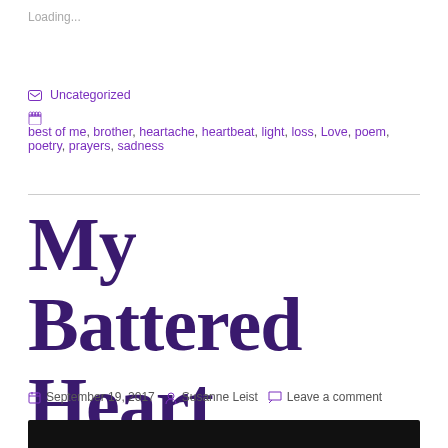Loading...
Uncategorized
best of me, brother, heartache, heartbeat, light, loss, Love, poem, poetry, prayers, sadness
My Battered Heart
September 19, 2017  Susanne Leist  Leave a comment